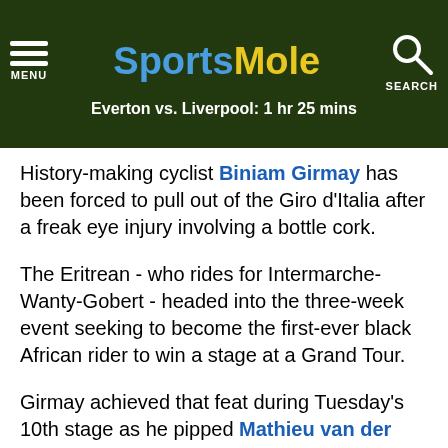Sports Mole — Everton vs. Liverpool: 1 hr 25 mins
History-making cyclist Biniam Girmay has been forced to pull out of the Giro d'Italia after a freak eye injury involving a bottle cork.
The Eritrean - who rides for Intermarche-Wanty-Gobert - headed into the three-week event seeking to become the first-ever black African rider to win a stage at a Grand Tour.
Girmay achieved that feat during Tuesday's 10th stage as he pipped Mathieu van der Poel to victory in the 194 km ride from Pescara to Jesi.